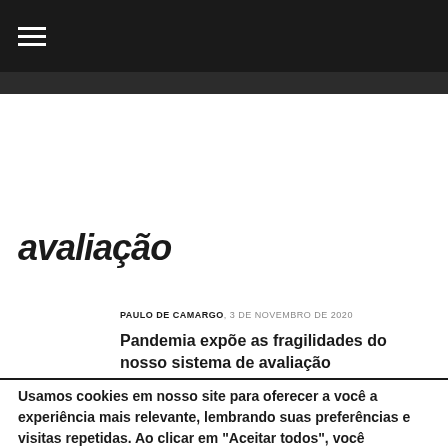≡
avaliação
PAULO DE CAMARGO, 3 DE NOVEMBRO DE 2020
Pandemia expõe as fragilidades do nosso sistema de avaliação
Usamos cookies em nosso site para oferecer a você a experiência mais relevante, lembrando suas preferências e visitas repetidas. Ao clicar em "Aceitar todos", você concorda com o uso de TODOS os cookies. No entanto, você pode